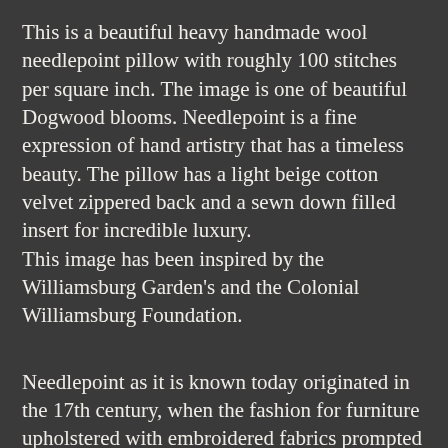This is a beautiful heavy handmade wool needlepoint pillow with roughly 100 stitches per square inch. The image is one of beautiful Dogwood blooms. Needlepoint is a fine expression of hand artistry that has a timeless beauty. The pillow has a light beige cotton velvet zippered back and a sewn down filled insert for incredible luxury. This image has been inspired by the Williamsburg Garden's and the Colonial Williamsburg Foundation.
Needlepoint as it is known today originated in the 17th century, when the fashion for furniture upholstered with embroidered fabrics prompted the development of a more durable material to serve as the embroidery's foundation. Western